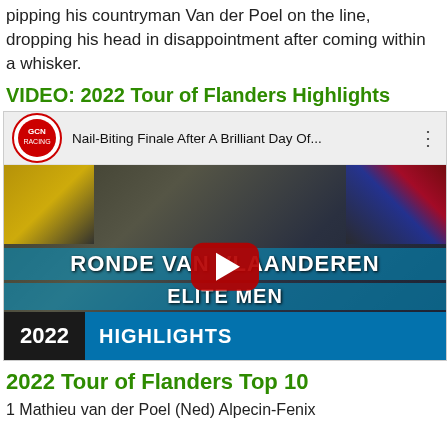pipping his countryman Van der Poel on the line, dropping his head in disappointment after coming within a whisker.
VIDEO: 2022 Tour of Flanders Highlights
[Figure (screenshot): YouTube video thumbnail for GCN Racing 'Nail-Biting Finale After A Brilliant Day Of...' showing the 2022 Ronde Van Vlaanderen Elite Men Highlights with cyclists, play button, and event text overlays.]
2022 Tour of Flanders Top 10
1 Mathieu van der Poel (Ned) Alpecin-Fenix